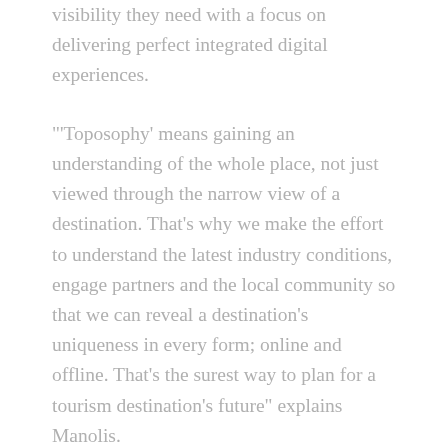visibility they need with a focus on delivering perfect integrated digital experiences.
"'Toposophy' means gaining an understanding of the whole place, not just viewed through the narrow view of a destination. That's why we make the effort to understand the latest industry conditions, engage partners and the local community so that we can reveal a destination's uniqueness in every form; online and offline. That's the surest way to plan for a tourism destination's future" explains Manolis.
TOPOSOPHY'S services focus on offering complete solutions in the following areas: destination strategy & planning destination marketing & branding, market intelligence, trade marketing, policy advice & government